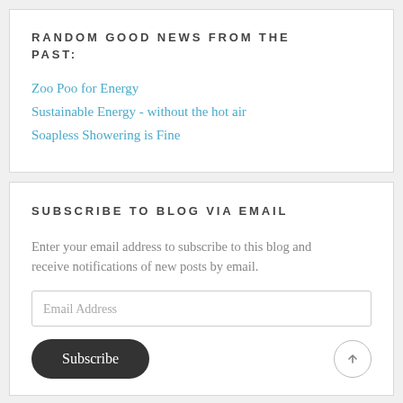RANDOM GOOD NEWS FROM THE PAST:
Zoo Poo for Energy
Sustainable Energy - without the hot air
Soapless Showering is Fine
SUBSCRIBE TO BLOG VIA EMAIL
Enter your email address to subscribe to this blog and receive notifications of new posts by email.
Email Address
Subscribe